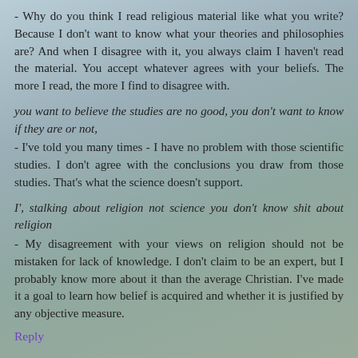- Why do you think I read religious material like what you write? Because I don't want to know what your theories and philosophies are? And when I disagree with it, you always claim I haven't read the material. You accept whatever agrees with your beliefs. The more I read, the more I find to disagree with.
you want to believe the studies are no good, you don't want to know if they are or not,
- I've told you many times - I have no problem with those scientific studies. I don't agree with the conclusions you draw from those studies. That's what the science doesn't support.
I', stalking about religion not science you don't know shit about religion
- My disagreement with your views on religion should not be mistaken for lack of knowledge. I don't claim to be an expert, but I probably know more about it than the average Christian. I've made it a goal to learn how belief is acquired and whether it is justified by any objective measure.
Reply